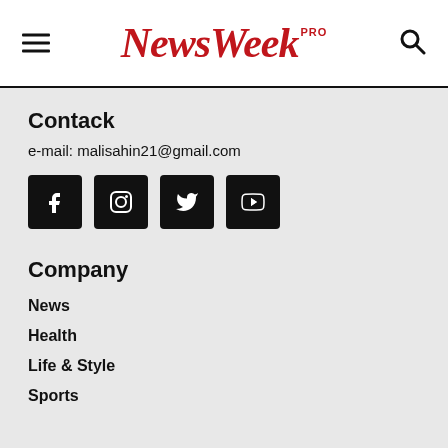NewsWeek PRO
Contack
e-mail: malisahin21@gmail.com
[Figure (illustration): Four social media icon buttons: Facebook, Instagram, Twitter, YouTube]
Company
News
Health
Life & Style
Sports